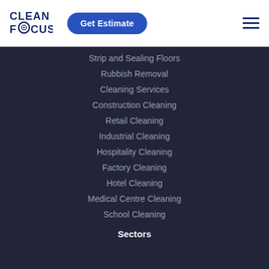[Figure (logo): Clean Focus logo with spiral O in FOCUS]
Get Estimate
Strip and Sealing Floors
Rubbish Removal
Cleaning Services
Construction Cleaning
Retail Cleaning
Industrial Cleaning
Hospitality Cleaning
Factory Cleaning
Hotel Cleaning
Medical Centre Cleaning
School Cleaning
Sectors